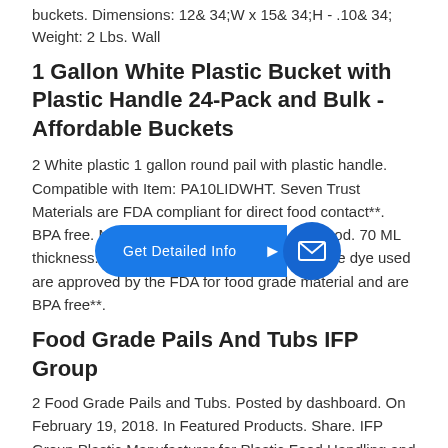buckets. Dimensions: 12& 34;W x 15& 34;H - .10& 34; Weight: 2 Lbs. Wall
1 Gallon White Plastic Bucket with Plastic Handle 24-Pack and Bulk - Affordable Buckets
2 White plastic 1 gallon round pail with plastic handle. Compatible with Item: PA10LIDWHT. Seven Trust Materials are FDA compliant for direct food contact**. BPA free. Must be washed prior to use with food. 70 ML thi... Made of HDPE, made in USA. **The dye use... app... by the FDA for food grade material and are BPA free**.
[Figure (other): Blue 'Get Detailed Info' button with arrow and email circle icon overlay]
Food Grade Pails And Tubs IFP Group
2 Food Grade Pails and Tubs. Posted by dashboard. On February 19, 2018. In Featured Products. Share. IFP Group Plastic Manufacturer for Plastic Food Handling and Food Storage Solutions. We can help with supply chain issues, product...